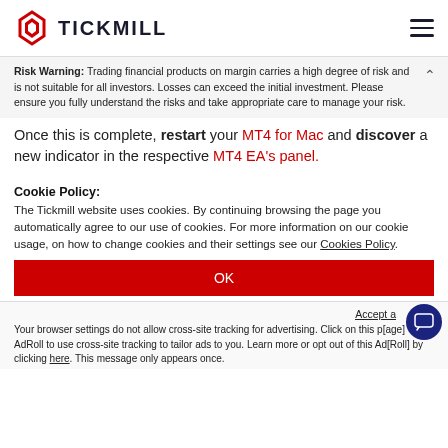TICKMILL
Risk Warning: Trading financial products on margin carries a high degree of risk and is not suitable for all investors. Losses can exceed the initial investment. Please ensure you fully understand the risks and take appropriate care to manage your risk.
Once this is complete, restart your MT4 for Mac and discover a new indicator in the respective MT4 EA's panel.
Cookie Policy:
The Tickmill website uses cookies. By continuing browsing the page you automatically agree to our use of cookies. For more information on our cookie usage, on how to change cookies and their settings see our Cookies Policy.
OK
Accept a[dRoll notice] Your browser settings do not allow cross-site tracking for advertising. Click on this page AdRoll to use cross-site tracking to tailor ads to you. Learn more or opt out of this AdRoll by clicking here. This message only appears once.